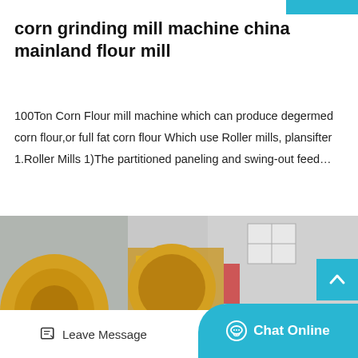corn grinding mill machine china mainland flour mill
100Ton Corn Flour mill machine which can produce degermed corn flour,or full fat corn flour Which use Roller mills, plansifter 1.Roller Mills 1)The partitioned paneling and swing-out feed…
[Figure (photo): Industrial corn grinding mill machinery outdoors — large yellow milling equipment, motor drives, grey hoppers, industrial building in background]
Leave Message
Chat Online